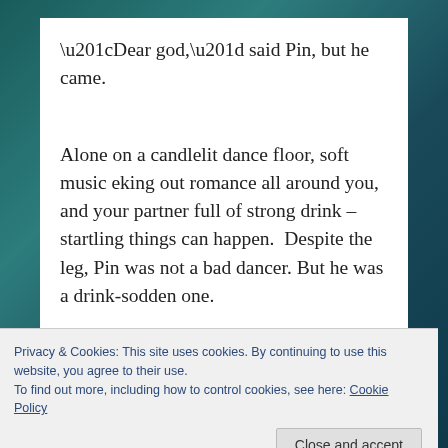“Dear god,” said Pin, but he came.
Alone on a candlelit dance floor, soft music eking out romance all around you, and your partner full of strong drink – startling things can happen. Despite the leg, Pin was not a bad dancer. But he was a drink-sodden one.
Privacy & Cookies: This site uses cookies. By continuing to use this website, you agree to their use.
To find out more, including how to control cookies, see here: Cookie Policy
my gaze casually over his shoulder. “Where you’re